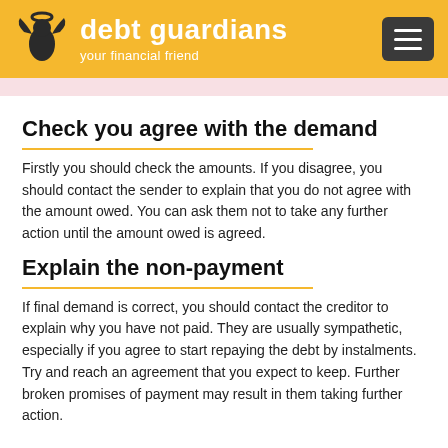debt guardians — your financial friend
Check you agree with the demand
Firstly you should check the amounts. If you disagree, you should contact the sender to explain that you do not agree with the amount owed. You can ask them not to take any further action until the amount owed is agreed.
Explain the non-payment
If final demand is correct, you should contact the creditor to explain why you have not paid. They are usually sympathetic, especially if you agree to start repaying the debt by instalments. Try and reach an agreement that you expect to keep. Further broken promises of payment may result in them taking further action.